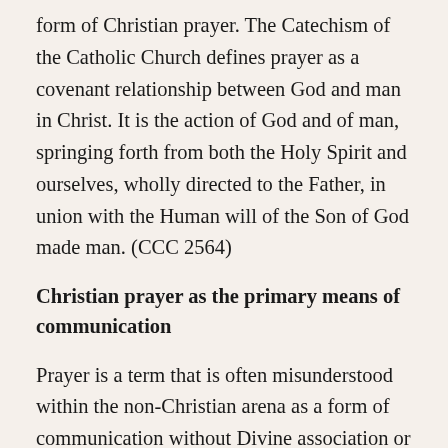form of Christian prayer. The Catechism of the Catholic Church defines prayer as a covenant relationship between God and man in Christ. It is the action of God and of man, springing forth from both the Holy Spirit and ourselves, wholly directed to the Father, in union with the Human will of the Son of God made man. (CCC 2564)
Christian prayer as the primary means of communication
Prayer is a term that is often misunderstood within the non-Christian arena as a form of communication without Divine association or intent. The phrase that perfectly exemplifies this position is “my thoughts are with you.” This expression at surface level is a form of